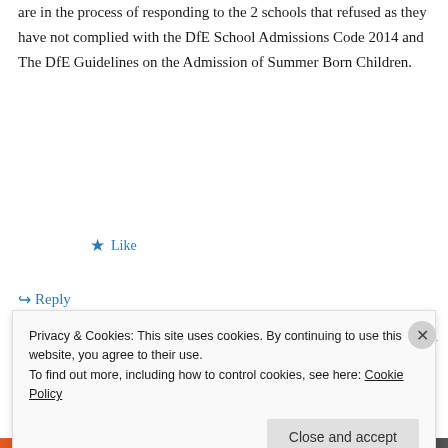are in the process of responding to the 2 schools that refused as they have not complied with the DfE School Admissions Code 2014 and The DfE Guidelines on the Admission of Summer Born Children.
★ Like
↪ Reply
R Dutton on April 7, 2018 at 10:35 pm
Privacy & Cookies: This site uses cookies. By continuing to use this website, you agree to their use. To find out more, including how to control cookies, see here: Cookie Policy
Close and accept